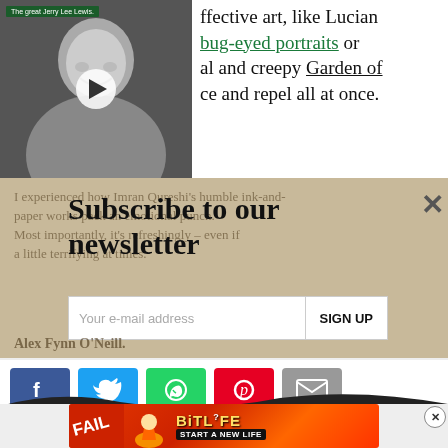[Figure (photo): Black and white photo of Jerry Lee Lewis with video play button overlay and green label 'The great Jerry Lee Lewis.']
ffective art, like Lucian bug-eyed portraits or al and creepy Garden of ce and repel all at once.
I experienced how Imran Qureshi's humble ink-and-paper works pack an emotional punch. Most importantly, it's refreshingly – even if a little terrifying at times.
Subscribe to our newsletter
Your e-mail address   SIGN UP
Alex Fynn O'Neill.
[Figure (infographic): Social sharing buttons: Facebook, Twitter, WhatsApp, Pinterest, Email]
[Figure (infographic): BitLife advertisement banner: FAIL character, flames, BitLife logo, START A NEW LIFE text]